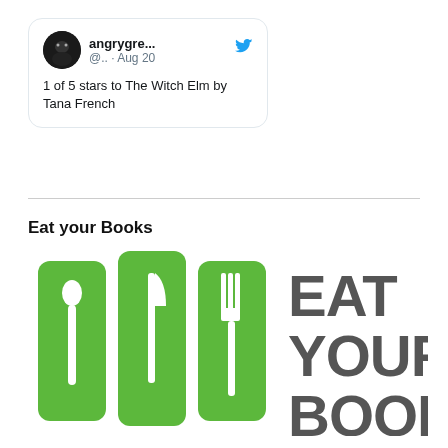[Figure (screenshot): Tweet screenshot from user 'angrygre...' (@..) dated Aug 20, saying '1 of 5 stars to The Witch Elm by Tana French']
Eat your Books
[Figure (logo): Eat Your Books logo — three green rounded rectangles styled as books with cutlery icons (spoon, knife, fork), with text 'EAT YOUR BOOKS' in dark gray]